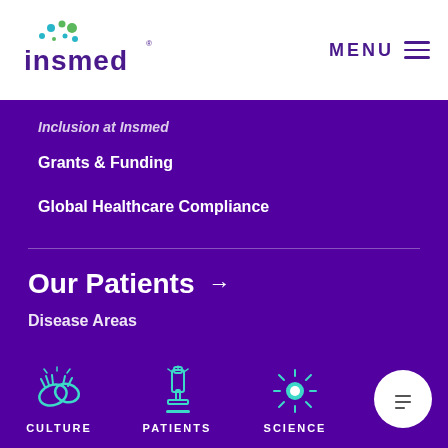[Figure (logo): Insmed logo with colorful dots and company name]
Inclusion at Insmed
Grants & Funding
Global Healthcare Compliance
Our Patients →
Disease Areas
NTM Lung Disease
Bronchiectasis
[Figure (infographic): Bottom navigation bar with Culture (clapping hands icon), Patients (microscope icon), Science (sun/atom icon) and chat button]